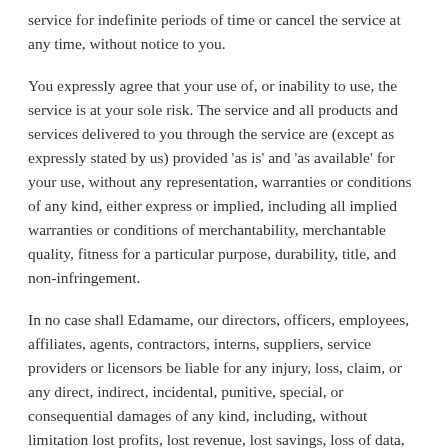service for indefinite periods of time or cancel the service at any time, without notice to you.
You expressly agree that your use of, or inability to use, the service is at your sole risk. The service and all products and services delivered to you through the service are (except as expressly stated by us) provided 'as is' and 'as available' for your use, without any representation, warranties or conditions of any kind, either express or implied, including all implied warranties or conditions of merchantability, merchantable quality, fitness for a particular purpose, durability, title, and non-infringement.
In no case shall Edamame, our directors, officers, employees, affiliates, agents, contractors, interns, suppliers, service providers or licensors be liable for any injury, loss, claim, or any direct, indirect, incidental, punitive, special, or consequential damages of any kind, including, without limitation lost profits, lost revenue, lost savings, loss of data,